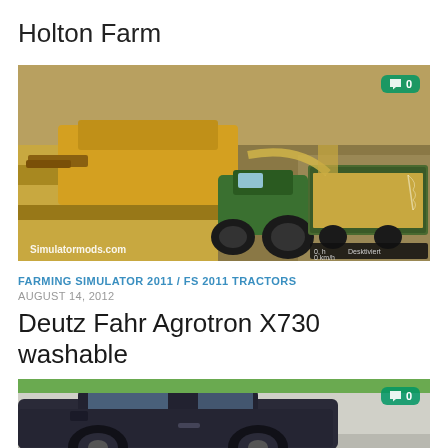Holton Farm
[Figure (screenshot): Farming simulator screenshot showing a combine harvester and tractor with trailer in a field, with 'Simulatormods.com' watermark and HUD elements at bottom right. Comment badge showing 0.]
FARMING SIMULATOR 2011 / FS 2011 TRACTORS
AUGUST 14, 2012
Deutz Fahr Agrotron X730 washable
[Figure (screenshot): Partial view of a car (dark sedan) parked on a light surface, partially cut off at bottom of page. Comment badge showing 0.]